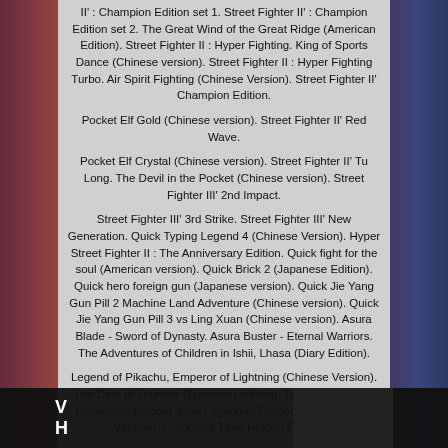II' : Champion Edition set 1. Street Fighter II' : Champion Edition set 2. The Great Wind of the Great Ridge (American Edition). Street Fighter II : Hyper Fighting. King of Sports Dance (Chinese version). Street Fighter II : Hyper Fighting Turbo. Air Spirit Fighting (Chinese Version). Street Fighter II' Champion Edition.
Pocket Elf Gold (Chinese version). Street Fighter II' Red Wave.
Pocket Elf Crystal (Chinese version). Street Fighter II' Tu Long. The Devil in the Pocket (Chinese version). Street Fighter III' 2nd Impact.
Street Fighter III' 3rd Strike. Street Fighter III' New Generation. Quick Typing Legend 4 (Chinese Version). Hyper Street Fighter II : The Anniversary Edition. Quick fight for the soul (American version). Quick Brick 2 (Japanese Edition). Quick hero foreign gun (Japanese version). Quick Jie Yang Gun Pill 2 Machine Land Adventure (Chinese version). Quick Jie Yang Gun Pill 3 vs Ling Xuan (Chinese version). Asura Blade - Sword of Dynasty. Asura Buster - Eternal Warriors. The Adventures of Children in Ishii, Lhasa (Diary Edition).
Legend of Pikachu, Emperor of Lightning (Chinese Version). The Date of Thunder (European edition). The Sword of 634 (Japanese Edition). New Legend of Dragon Soul (Chinese Version). Crouching Tiger Hidden Dragon...